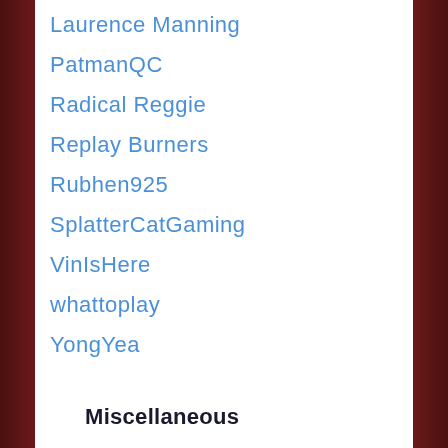Laurence Manning
PatmanQC
Radical Reggie
Replay Burners
Rubhen925
SplatterCatGaming
VinIsHere
whattoplay
YongYea
Miscellaneous